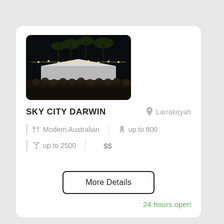[Figure (photo): Outdoor night event at Sky City Darwin with crowds, palm trees, fairy lights, and a white marquee tent.]
SKY CITY DARWIN
Larrakeyah
Modern Australian
up to 800
up to 2500
$$
More Details
24 hours open